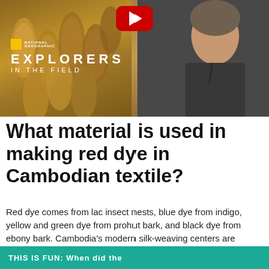[Figure (photo): National Geographic Explorers In The Field video thumbnail with YouTube play button. Left side shows silk spools/bobbins in golden-brown tones. Right side shows a person in dark shirt. Overlay shows National Geographic logo and 'EXPLORERS IN THE FIELD' text.]
What material is used in making red dye in Cambodian textile?
Red dye comes from lac insect nests, blue dye from indigo, yellow and green dye from prohut bark, and black dye from ebony bark. Cambodia's modern silk-weaving centers are Takéo, Battambang, Beanteay Meanchey, Siem Reap and Kampot provinces.
THIS IS FUN: When did the